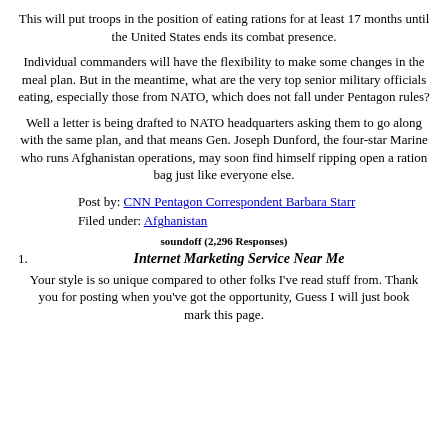This will put troops in the position of eating rations for at least 17 months until the United States ends its combat presence.
Individual commanders will have the flexibility to make some changes in the meal plan. But in the meantime, what are the very top senior military officials eating, especially those from NATO, which does not fall under Pentagon rules?
Well a letter is being drafted to NATO headquarters asking them to go along with the same plan, and that means Gen. Joseph Dunford, the four-star Marine who runs Afghanistan operations, may soon find himself ripping open a ration bag just like everyone else.
Post by: CNN Pentagon Correspondent Barbara Starr
Filed under: Afghanistan
soundoff (2,296 Responses)
1. Internet Marketing Service Near Me
Your style is so unique compared to other folks I've read stuff from. Thank you for posting when you've got the opportunity, Guess I will just book mark this page.